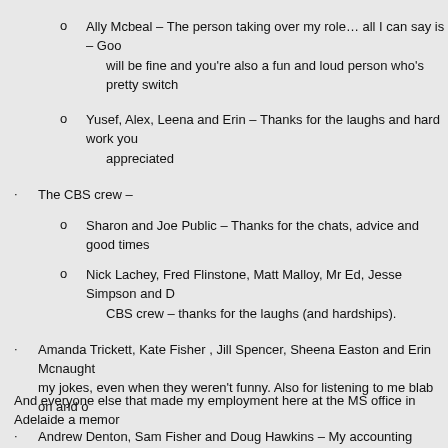Ally Mcbeal – The person taking over my role… all I can say is – Goo will be fine and you're also a fun and loud person who's pretty switch
Yusef, Alex, Leena and Erin – Thanks for the laughs and hard work you appreciated
The CBS crew –
Sharon and Joe Public – Thanks for the chats, advice and good times
Nick Lachey, Fred Flinstone, Matt Malloy, Mr Ed, Jesse Simpson and D CBS crew – thanks for the laughs (and hardships).
Amanda Trickett, Kate Fisher , Jill Spencer, Sheena Easton and Erin Mcnaught my jokes, even when they weren't funny. Also for listening to me blab on and o
Andrew Denton, Sam Fisher and Doug Hawkins – My accounting mentors, tha
And everyone else that made my employment here at the MS office in Adelaide a memor